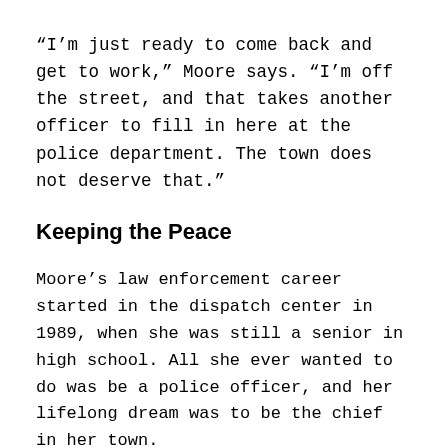“I’m just ready to come back and get to work,” Moore says. “I’m off the street, and that takes another officer to fill in here at the police department. The town does not deserve that.”
Keeping the Peace
Moore’s law enforcement career started in the dispatch center in 1989, when she was still a senior in high school. All she ever wanted to do was be a police officer, and her lifelong dream was to be the chief in her town.
After finishing a school-to-work program, Moore